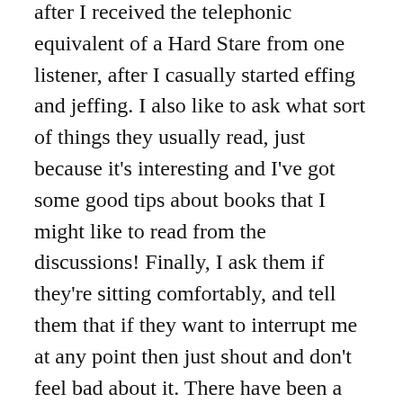after I received the telephonic equivalent of a Hard Stare from one listener, after I casually started effing and jeffing. I also like to ask what sort of things they usually read, just because it's interesting and I've got some good tips about books that I might like to read from the discussions! Finally, I ask them if they're sitting comfortably, and tell them that if they want to interrupt me at any point then just shout and don't feel bad about it. There have been a few guest appearances from Amazon delivery drivers and I wouldn't want listeners thinking they can't interrupt or tell me to shut up if they need a wee.
Finally, and perhaps the most unexpected part of the experience for me, there's an emotional